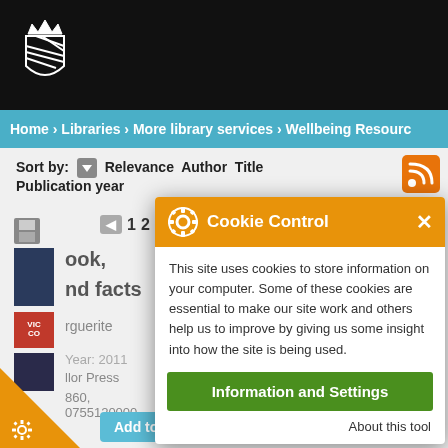[Figure (logo): University coat of arms / crest logo, white on black background]
Home › Libraries › More library services › Wellbeing Resource
Sort by: Relevance Author Title Publication year
[Figure (screenshot): Cookie Control modal overlay with orange header, gear icon, close X button, body text about cookies, Information and Settings green button, About this tool link]
This site uses cookies to store information on your computer. Some of these cookies are essential to make our site work and others help us to improve by giving us some insight into how the site is being used.
Information and Settings
About this tool
ook, nd facts
rguerite
llor Press
860, 0755120000
Add to wishlist   Recommend this